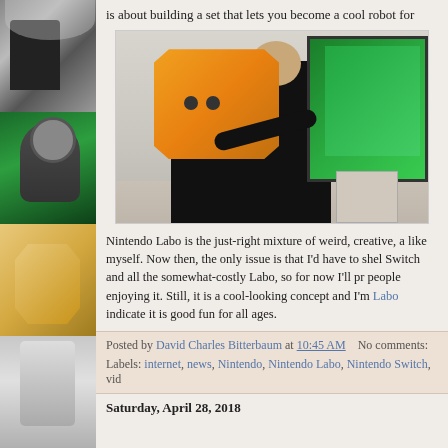is about building a set that lets you become a cool robot for
[Figure (photo): Person wearing an orange cardboard robot backpack from Nintendo Labo, facing a TV screen showing a robot game]
Nintendo Labo is the just-right mixture of weird, creative, a like myself. Now then, the only issue is that I'd have to shel Switch and all the somewhat-costly Labo, so for now I'll pr people enjoying it. Still, it is a cool-looking concept and I'm Labo indicate it is good fun for all ages.
Posted by David Charles Bitterbaum at 10:45 AM    No comments:
Labels: internet, news, Nintendo, Nintendo Labo, Nintendo Switch, vid
Saturday, April 28, 2018